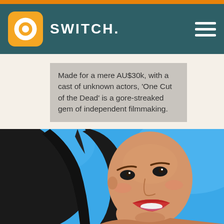SWITCH.
Made for a mere AU$30k, with a cast of unknown actors, 'One Cut of the Dead' is a gore-streaked gem of independent filmmaking.
[Figure (illustration): Animated illustration of a young woman with long black hair, smiling and looking upward, against a blue sky background. Resembles the Disney animated character Pocahontas.]